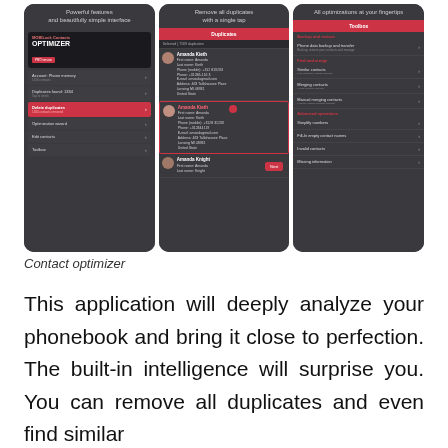[Figure (screenshot): Three mobile app screenshots of Contacts Optimizer app showing: (1) main menu with account/phone memory, duplicates found, delete duplicates, optimization, edit contacts, toolbox options; (2) duplicates screen showing Amanda Kieth contact entries with details; (3) toolbox screen with backup/restore, find and merge, advanced options sections]
Contact optimizer
This application will deeply analyze your phonebook and bring it close to perfection. The built-in intelligence will surprise you. You can remove all duplicates and even find similar